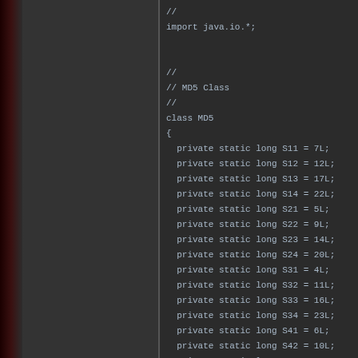//
import java.io.*;


//
// MD5 Class
//
class MD5
{
    private static long S11 = 7L;
    private static long S12 = 12L;
    private static long S13 = 17L;
    private static long S14 = 22L;
    private static long S21 = 5L;
    private static long S22 = 9L;
    private static long S23 = 14L;
    private static long S24 = 20L;
    private static long S31 = 4L;
    private static long S32 = 11L;
    private static long S33 = 16L;
    private static long S34 = 23L;
    private static long S41 = 6L;
    private static long S42 = 10L;
    private static long S43 = 15L;
    private static long S44 = 21L;

    private static char pad[] = {128, 0, 0, 0, 0, 0, 0,
                                  0, 0, 0, 0, 0, 0, 0, 0, 0, 0, 0,